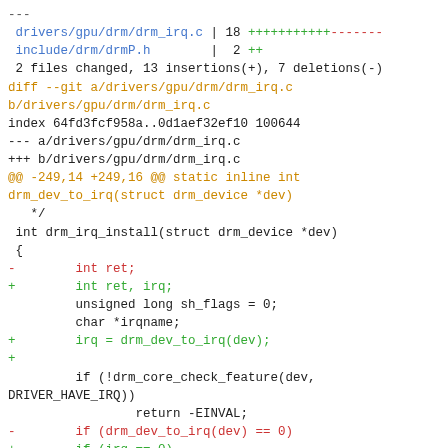Git diff output showing changes to drivers/gpu/drm/drm_irq.c and include/drm/drmP.h, with code modifications to drm_irq_install function